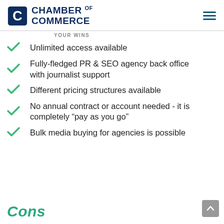[Figure (logo): Chamber of Commerce logo with C icon and text]
Unlimited access available
Fully-fledged PR & SEO agency back office with journalist support
Different pricing structures available
No annual contract or account needed - it is completely “pay as you go”
Bulk media buying for agencies is possible
Cons